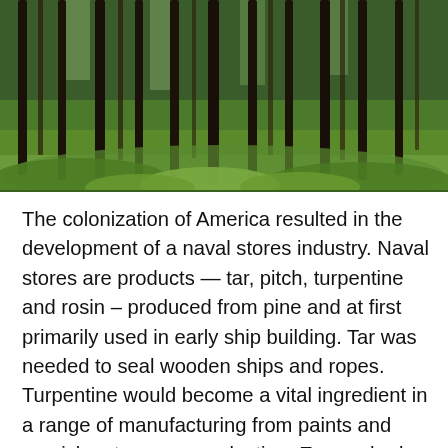[Figure (photo): Photograph of a pine forest with tall straight tree trunks and lush green undergrowth on the forest floor]
The colonization of America resulted in the development of a naval stores industry. Naval stores are products — tar, pitch, turpentine and rosin – produced from pine and at first primarily used in early ship building. Tar was needed to seal wooden ships and ropes. Turpentine would become a vital ingredient in a range of manufacturing from paints and varnishes to paper production. Europe had relied upon Sweden for its tar but with the “discovery” of the New World and its expansive forests, new opportunities emerged for Britain to the dominance...